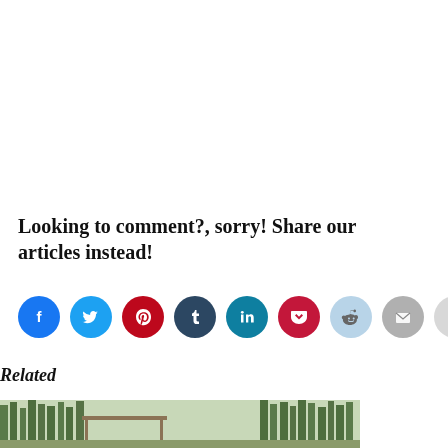Looking to comment?, sorry! Share our articles instead!
[Figure (infographic): Row of social media share icons: Facebook (blue), Twitter (light blue), Pinterest (red/dark red), Tumblr (dark blue), LinkedIn (teal), Pocket (dark red), Reddit (light blue), Email (grey), Print (light grey)]
Related
[Figure (photo): Outdoor wooded scene with trees and a structure, partial view at bottom of page]